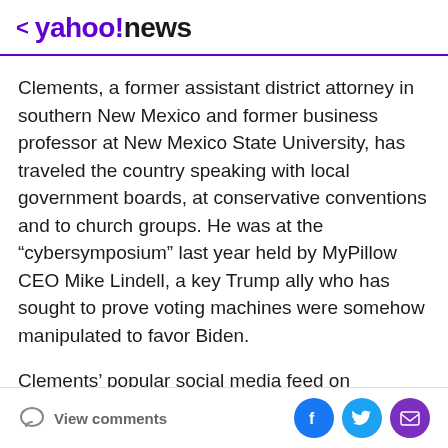< yahoo!news
Clements, a former assistant district attorney in southern New Mexico and former business professor at New Mexico State University, has traveled the country speaking with local government boards, at conservative conventions and to church groups. He was at the “cybersymposium” last year held by MyPillow CEO Mike Lindell, a key Trump ally who has sought to prove voting machines were somehow manipulated to favor Biden.
Clements’ popular social media feed on Telegram frequently weaves pronouncements about democracy with scripture and prayer. It also includes video chats with the like-minded.
View comments